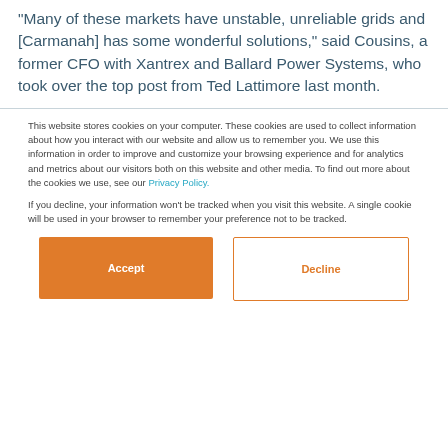“Many of these markets have unstable, unreliable grids and [Carmanah] has some wonderful solutions,” said Cousins, a former CFO with Xantrex and Ballard Power Systems, who took over the top post from Ted Lattimore last month.
This website stores cookies on your computer. These cookies are used to collect information about how you interact with our website and allow us to remember you. We use this information in order to improve and customize your browsing experience and for analytics and metrics about our visitors both on this website and other media. To find out more about the cookies we use, see our Privacy Policy.
If you decline, your information won’t be tracked when you visit this website. A single cookie will be used in your browser to remember your preference not to be tracked.